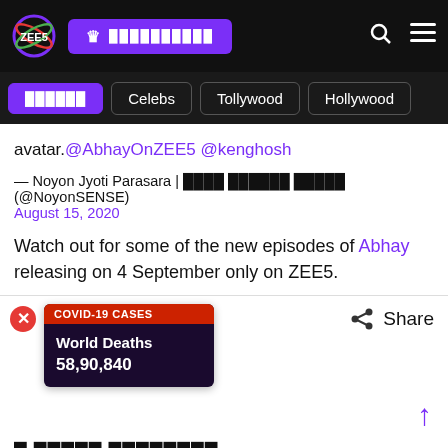[Figure (screenshot): ZEE5 website header with logo, subscribe button, search and menu icons on dark background]
[Figure (screenshot): Navigation bar with active Hindi category pill and Celebs, Tollywood, Hollywood outline pills]
avatar.@AbhayOnZEE5 @kenghosh
— Noyon Jyoti Parasara | ████ ██████ █████ (@NoyonSENSE)
August 15, 2020
Watch out for some of the new episodes of Abhay releasing on 4 September only on ZEE5.
[Figure (infographic): COVID-19 CASES widget showing World Deaths 58,90,840]
█ █████ ████████
Abhay  Asha negi  Bidita Bag  Chunky Pant